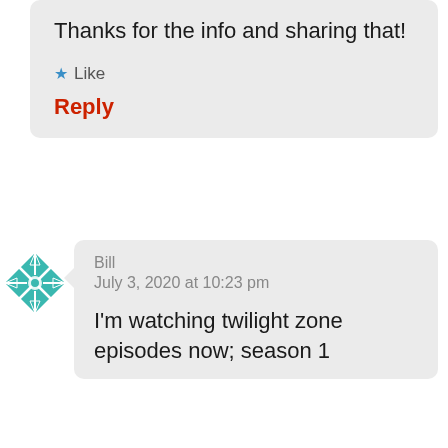Thanks for the info and sharing that!
★ Like
Reply
[Figure (illustration): Teal geometric snowflake-like avatar icon for user Bill]
Bill
July 3, 2020 at 10:23 pm
I'm watching twilight zone episodes now; season 1